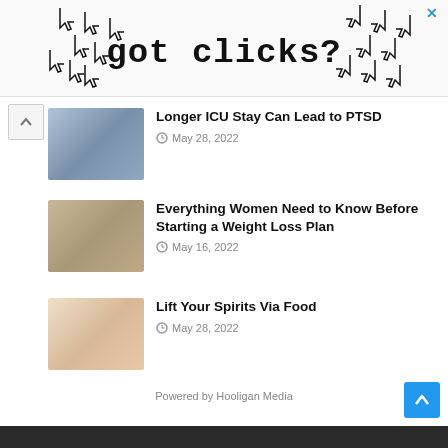[Figure (illustration): Advertisement banner with pixel-art cursor/hand icons and text 'got clicks?' on white background with an X close button]
Longer ICU Stay Can Lead to PTSD — May 28, 2022
Everything Women Need to Know Before Starting a Weight Loss Plan — May 16, 2022
Lift Your Spirits Via Food — May 28, 2022
Powered by Hooligan Media